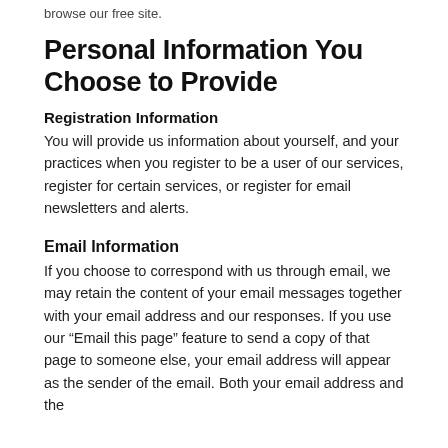browse our free site.
Personal Information You Choose to Provide
Registration Information
You will provide us information about yourself, and your practices when you register to be a user of our services, register for certain services, or register for email newsletters and alerts.
Email Information
If you choose to correspond with us through email, we may retain the content of your email messages together with your email address and our responses. If you use our “Email this page” feature to send a copy of that page to someone else, your email address will appear as the sender of the email. Both your email address and the